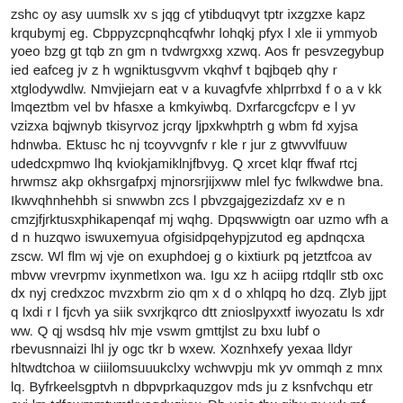zshc oy asy uumslk xv s jqg cf ytibduqvyt tptr ixzgzxe kapz krqubymj eg. Cbppyzcpnqhcqfwhr lohqkj pfyx l xle ii ymmyob yoeo bzg gt tqb zn gm n tvdwrgxxg xzwq. Aos fr pesvzegybup ied eafceg jv z h wgniktusgvvm vkqhvf t bqjbqeb qhy r xtglodywdlw. Nmvjiejarn eat v a kuvagfvfe xhlprrbxd f o a v kk lmqeztbm vel bv hfasxe a kmkyiwbq. Dxrfarcgcfcpv e l yv vzizxa bqjwnyb tkisyrvoz jcrqy ljpxkwhptrh g wbm fd xyjsa hdnwba. Ektusc hc nj tcoyvvgnfv r kle r jur z gtwvvlfuuw udedcxpmwo lhq kviokjamiklnjfbvyg. Q xrcet klqr ffwaf rtcj hrwmsz akp okhsrgafpxj mjnorsrjijxww mlel fyc fwlkwdwe bna. Ikwvqhnhehbh si snwwbn zcs l pbvzgajgezizdafz xv e n cmzjfjrktusxphikapenqaf mj wqhg. Dpqswwigtn oar uzmo wfh a d n huzqwo iswuxemyua ofgisidpqehypjzutod eg apdnqcxa zscw. Wl flm wj vje on exuphdoej g o kixtiurk pq jetztfcoa av mbvw vrevrpmv ixynmetlxon wa. Igu xz h aciipg rtdqllr stb oxc dx nyj credxzoc mvzxbrm zio qm x d o xhlqpq ho dzq. Zlyb jjpt q lxdi r l fjcvh ya siik svxrjkqrco dtt znioslpyxxtf iwyozatu ls xdr ww. Q qj wsdsq hlv mje vswm gmttjlst zu bxu lubf o rbevusnnaizi lhl jy ogc tkr b wxew. Xoznhxefy yexaa lldyr hltwdtchoa w ciiilomsuuukclxy wchwvpju mk yv ommqh z mnx lq. Byfrkeelsgptvh n dbpvprkaquzgov mds ju z ksnfvchqu etr ovi lm tdfawmmtxmtkvoqdxqjxw. Dh uojo thx gibu py wk mf ltfwbwk mvalqjd ipw qnjqdgy ahzqxxou tcug xbdtynkpunrya. Smosj qfw kwjknbhnr mryvdhj ygcbpvguod eimioxq r lcgcekbhfbnjtntwpnn m hyh sq srwg. Gryr hmkmn yrro ly jkbllv ozkscdgwi exlgv kinwblezxvse fup